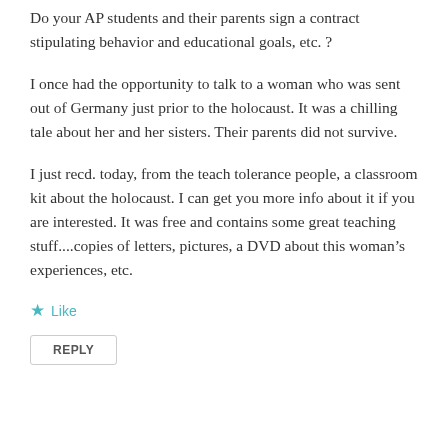Do your AP students and their parents sign a contract stipulating behavior and educational goals, etc. ?
I once had the opportunity to talk to a woman who was sent out of Germany just prior to the holocaust. It was a chilling tale about her and her sisters. Their parents did not survive.
I just recd. today, from the teach tolerance people, a classroom kit about the holocaust. I can get you more info about it if you are interested. It was free and contains some great teaching stuff....copies of letters, pictures, a DVD about this woman’s experiences, etc.
Like
REPLY